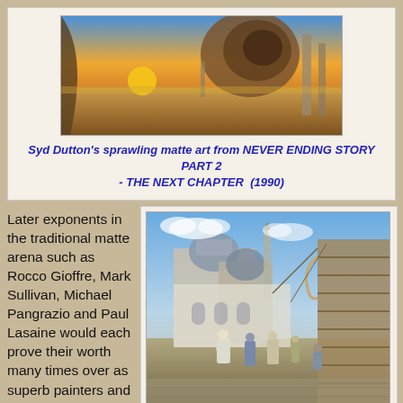[Figure (illustration): Syd Dutton's sprawling matte art painting showing a vast desert landscape with a giant spiral shell, stone columns, a setting sun, and alien sky from Never Ending Story Part 2 - The Next Chapter (1990)]
Syd Dutton's sprawling matte art from NEVER ENDING STORY PART 2 - THE NEXT CHAPTER  (1990)
Later exponents in the traditional matte arena such as Rocco Gioffre, Mark Sullivan, Michael Pangrazio and Paul Lasaine would each prove their worth many times over as superb painters and effects men whose trick shots
[Figure (illustration): RKO matte painting from Sinbad the Sailor (1947) showing a Middle Eastern port city with domed buildings, market street with figures in white robes, and a large wooden ship in the foreground]
RKO matte from: SINBAD THE SAILOR (1947)